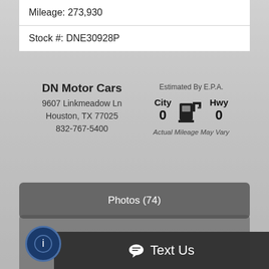Mileage: 273,930
Stock #: DNE30928P
DN Motor Cars
9607 Linkmeadow Ln
Houston, TX 77025
832-767-5400
[Figure (infographic): Fuel economy display showing Estimated By E.P.A., City 0, Hwy 0, with fuel pump icon, and note 'Actual Mileage May Vary']
Photos (74)
Text Us